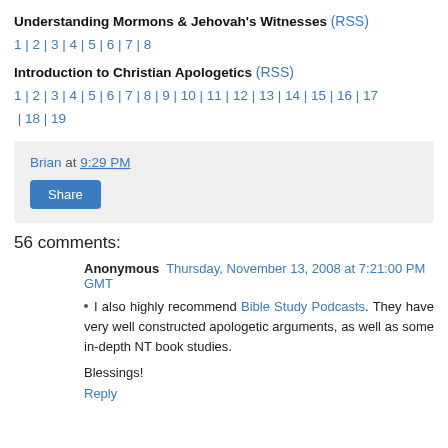Understanding Mormons & Jehovah's Witnesses (RSS) 1 | 2 | 3 | 4 | 5 | 6 | 7 | 8
Introduction to Christian Apologetics (RSS) 1 | 2 | 3 | 4 | 5 | 6 | 7 | 8 | 9 | 10 | 11 | 12 | 13 | 14 | 15 | 16 | 17 | 18 | 19
Brian at 9:29 PM
Share
56 comments:
Anonymous Thursday, November 13, 2008 at 7:21:00 PM GMT
I also highly recommend Bible Study Podcasts. They have very well constructed apologetic arguments, as well as some in-depth NT book studies.
Blessings!
Reply